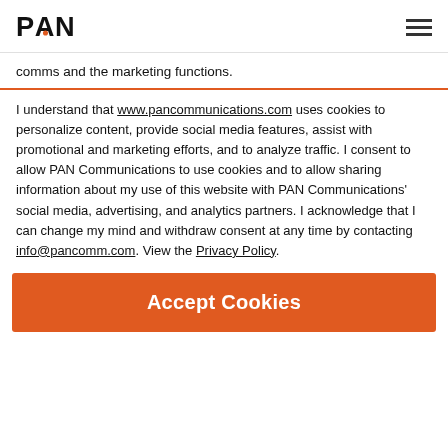PAN [logo]
comms and the marketing functions.
I understand that www.pancommunications.com uses cookies to personalize content, provide social media features, assist with promotional and marketing efforts, and to analyze traffic. I consent to allow PAN Communications to use cookies and to allow sharing information about my use of this website with PAN Communications' social media, advertising, and analytics partners. I acknowledge that I can change my mind and withdraw consent at any time by contacting info@pancomm.com. View the Privacy Policy.
Accept Cookies